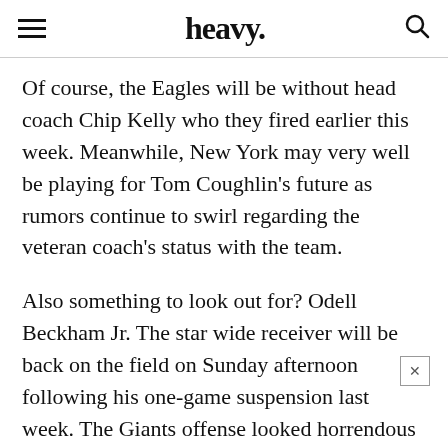heavy.
Of course, the Eagles will be without head coach Chip Kelly who they fired earlier this week. Meanwhile, New York may very well be playing for Tom Coughlin’s future as rumors continue to swirl regarding the veteran coach’s status with the team.
Also something to look out for? Odell Beckham Jr. The star wide receiver will be back on the field on Sunday afternoon following his one-game suspension last week. The Giants offense looked horrendous without Beckham last Sunday night, so it will be interesting to see how Big Blue responds to him.